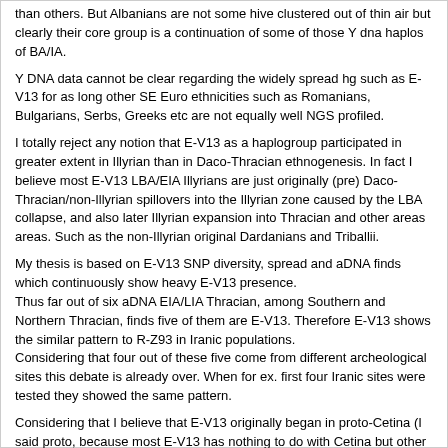their core group is a continuation of some of those Y dna haplos of BA/IA.
Y DNA data cannot be clear regarding the widely spread hg such as E-V13 for as long other SE Euro ethnicities such as Romanians, Bulgarians, Serbs, Greeks etc are not equally well NGS profiled.
I totally reject any notion that E-V13 as a haplogroup participated in greater extent in Illyrian than in Daco-Thracian ethnogenesis. In fact I believe most E-V13 LBA/EIA Illyrians are just originally (pre) Daco-Thracian/non-Illyrian spillovers into the Illyrian zone caused by the LBA collapse, and also later Illyrian expansion into Thracian and other areas areas. Such as the non-Illyrian original Dardanians and Triballii.
My thesis is based on E-V13 SNP diversity, spread and aDNA finds which continuously show heavy E-V13 presence.
Thus far out of six aDNA EIA/LIA Thracian, among Southern and Northern Thracian, finds five of them are E-V13. Therefore E-V13 shows the similar pattern to R-Z93 in Iranic populations.
Considering that four out of these five come from different archeological sites this debate is already over. When for ex. first four Iranic sites were tested they showed the same pattern.
Considering that I believe that E-V13 originally began in proto-Cetina (I said proto, because most E-V13 has nothing to do with Cetina but other related phenomenon) culture in the Western Balkans and not in Central Europe, this is how E-V13 came to form a defining influence in an ancient IE Paleo-Balkan culture.
Because if it was spread primarily by the Illyrians, then E-V13 cannot have an important IE connection.
I remember that the theory initially was that Albanians came form Albania of Caucasus in the middle ages. That was a great one:).
No one in the Serbian or Yugoslav academic world ever proposed such a